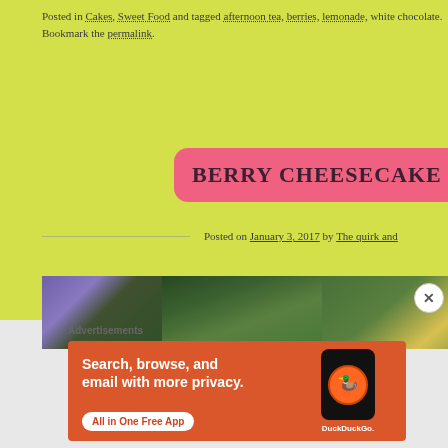Posted in Cakes, Sweet Food and tagged afternoon tea, berries, lemonade, white chocolate. Bookmark the permalink.
BERRY CHEESECAKE TH…
Posted on January 3, 2017 by The quirk and …
[Figure (photo): Garden photo showing purple flowers and green foliage]
Advertisements
[Figure (screenshot): DuckDuckGo advertisement: Search, browse, and email with more privacy. All in One Free App]